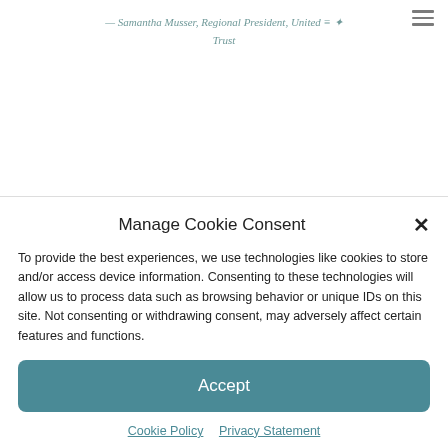— Samantha Musser, Regional President, United Trust
Manage Cookie Consent
To provide the best experiences, we use technologies like cookies to store and/or access device information. Consenting to these technologies will allow us to process data such as browsing behavior or unique IDs on this site. Not consenting or withdrawing consent, may adversely affect certain features and functions.
Accept
Cookie Policy  Privacy Statement